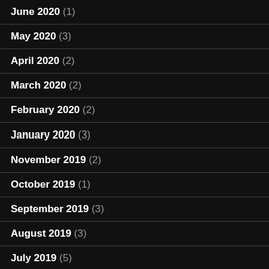June 2020 (1)
May 2020 (3)
April 2020 (2)
March 2020 (2)
February 2020 (2)
January 2020 (3)
November 2019 (2)
October 2019 (1)
September 2019 (3)
August 2019 (3)
July 2019 (5)
June 2019 (3)
May 2019 (3)